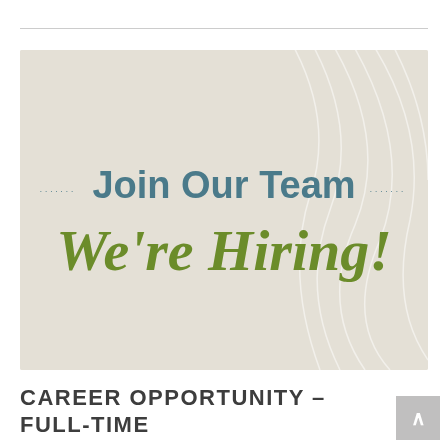[Figure (illustration): A beige/cream textured background banner image with flowing decorative white lines on the right side. Center-left shows 'Join Our Team' in bold teal/slate blue sans-serif with dot decorations on either side, and below it 'We're Hiring!' in large bold italic olive/green script font.]
CAREER OPPORTUNITY – FULL-TIME